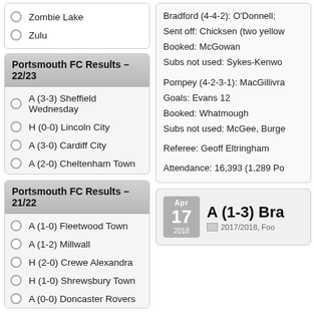Zombie Lake
Zulu
Portsmouth FC Results – 22/23
A (3-3) Sheffield Wednesday
H (0-0) Lincoln City
A (3-0) Cardiff City
A (2-0) Cheltenham Town
H (4-1) Cambridge United
H (3-1) Bristol Rovers
Portsmouth FC Results – 21/22
A (1-0) Fleetwood Town
A (1-2) Millwall
H (2-0) Crewe Alexandra
H (1-0) Shrewsbury Town
A (0-0) Doncaster Rovers
A (0-1) Wigan Athletic
A (3-5) AFC Wimbledon
Bradford (4-4-2): O'Donnell;
Sent off: Chicksen (two yellow
Booked: McGowan
Subs not used: Sykes-Kenwo
Pompey (4-2-3-1): MacGillivra
Goals: Evans 12
Booked: Whatmough
Subs not used: McGee, Burge
Referee: Geoff Eltringham
Attendance: 16,393 (1,289 Po
A (1-3) Bra
Apr 17 2018
2017/2018, Foo